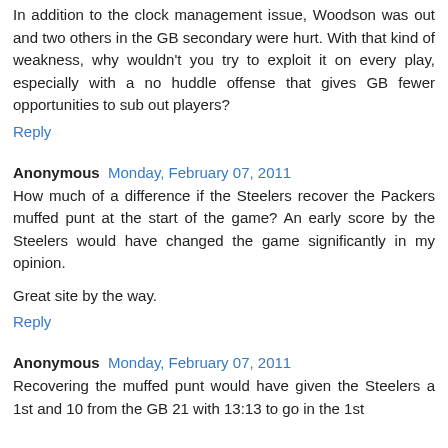In addition to the clock management issue, Woodson was out and two others in the GB secondary were hurt. With that kind of weakness, why wouldn't you try to exploit it on every play, especially with a no huddle offense that gives GB fewer opportunities to sub out players?
Reply
Anonymous  Monday, February 07, 2011
How much of a difference if the Steelers recover the Packers muffed punt at the start of the game? An early score by the Steelers would have changed the game significantly in my opinion.
Great site by the way.
Reply
Anonymous  Monday, February 07, 2011
Recovering the muffed punt would have given the Steelers a 1st and 10 from the GB 21 with 13:13 to go in the 1st...